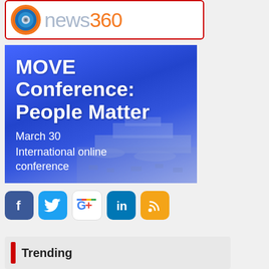[Figure (logo): News360 logo with circular eye icon in orange and blue, text 'news360' in gray and orange, inside a red-bordered white box]
[Figure (photo): MOVE Conference: People Matter promotional banner. Blue-tinted aerial airport photo overlaid with white bold text: 'MOVE Conference: People Matter', 'March 30', 'International online conference']
[Figure (infographic): Social media sharing icons row: Facebook (blue), Twitter (cyan), Google+ (multicolor), LinkedIn (blue), RSS (orange)]
Trending